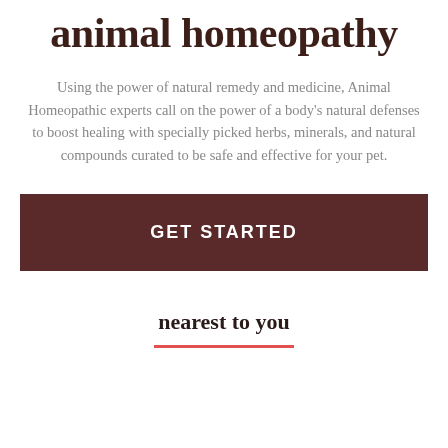animal homeopathy
Using the power of natural remedy and medicine, Animal Homeopathic experts call on the power of a body's natural defenses to boost healing with specially picked herbs, minerals, and natural compounds curated to be safe and effective for your pet.
GET STARTED
nearest to you